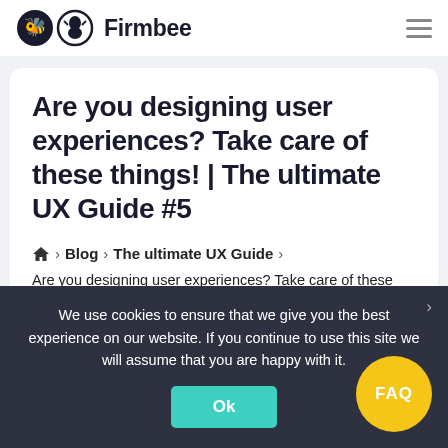Firmbee
Are you designing user experiences? Take care of these things! | The ultimate UX Guide #5
🏠 › Blog › The ultimate UX Guide ›
Are you designing user experiences? Take care of these things!
We use cookies to ensure that we give you the best experience on our website. If you continue to use this site we will assume that you are happy with it.
Ok
FAQ